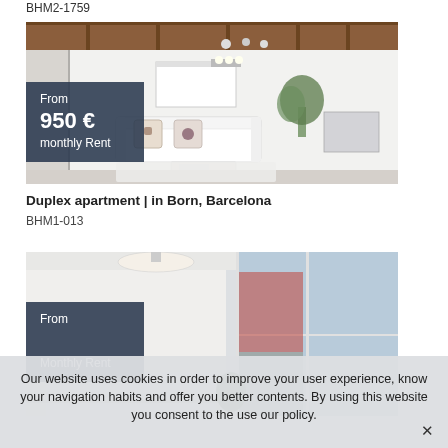BHM2-1759
[Figure (photo): Interior of a duplex apartment showing a white sofa with decorative cushions, wooden ceiling beams, wall-mounted lights, and a small dining area with plants. Overlaid with price tag: From 950 € monthly Rent.]
Duplex apartment | in Born, Barcelona
BHM1-013
[Figure (photo): Interior of a second apartment listing showing a bright room with large windows, a ceiling lamp, and partial view of furnishings. Overlaid with From [price] monthly Rent overlay.]
Our website uses cookies in order to improve your user experience, know your navigation habits and offer you better contents. By using this website you consent to the use our policy.